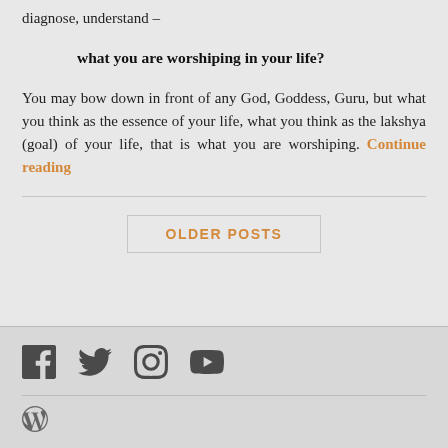diagnose, understand –
what you are worshiping in your life?
You may bow down in front of any God, Goddess, Guru, but what you think as the essence of your life, what you think as the lakshya (goal) of your life, that is what you are worshiping. Continue reading
OLDER POSTS
[Figure (infographic): Social media icons: Facebook, Twitter, Instagram, YouTube]
[Figure (logo): WordPress logo]